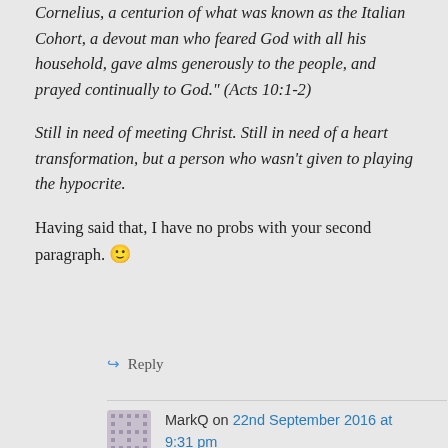Cornelius, a centurion of what was known as the Italian Cohort, a devout man who feared God with all his household, gave alms generously to the people, and prayed continually to God." (Acts 10:1-2)
Still in need of meeting Christ. Still in need of a heart transformation, but a person who wasn't given to playing the hypocrite.
Having said that, I have no probs with your second paragraph. 🙂
↪ Reply
MarkQ on 22nd September 2016 at 9:31 pm